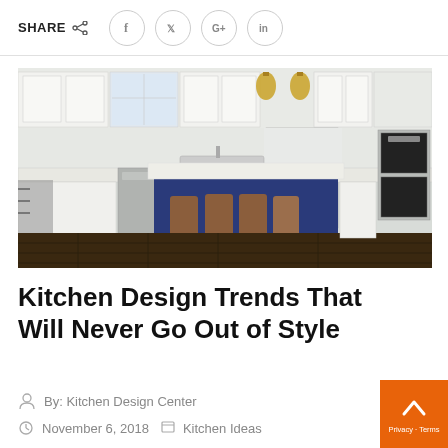SHARE
[Figure (photo): Modern white kitchen with blue island, brown leather bar stools, stainless steel appliances, gold pendant lights, and dark hardwood floors. Dining table visible on the left.]
Kitchen Design Trends That Will Never Go Out of Style
By: Kitchen Design Center
November 6, 2018  Kitchen Ideas